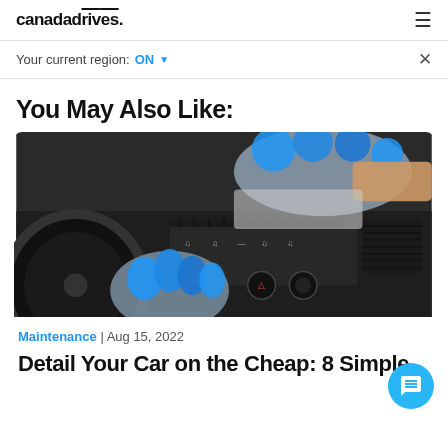canadadrives. ≡
Your current region: ON ✓  ×
You May Also Like:
[Figure (photo): Person wearing grey and blue gloves cleaning/detailing a car dashboard and center console with a microfiber cloth]
Maintenance | Aug 15, 2022
Detail Your Car on the Cheap: 8 Simple